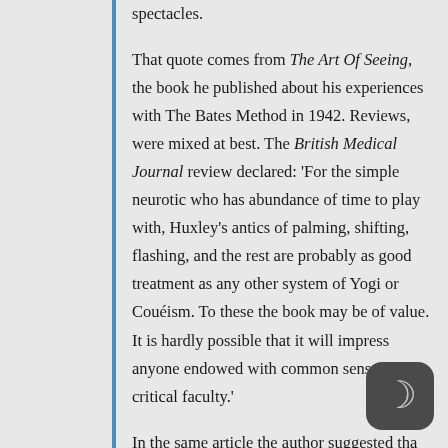spectacles. That quote comes from The Art Of Seeing, the book he published about his experiences with The Bates Method in 1942. Reviews, were mixed at best. The British Medical Journal review declared: 'For the simple neurotic who has abundance of time to play with, Huxley's antics of palming, shifting, flashing, and the rest are probably as good treatment as any other system of Yogi or Couéism. To these the book may be of value. It is hardly possible that it will impress anyone endowed with common sense and a critical faculty.' In the same article the author suggested that Huxley...